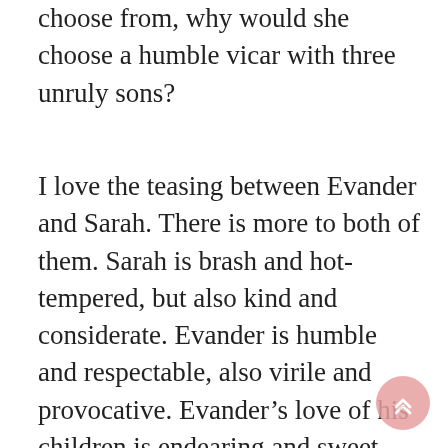choose from, why would she choose a humble vicar with three unruly sons?
I love the teasing between Evander and Sarah. There is more to both of them. Sarah is brash and hot-tempered, but also kind and considerate. Evander is humble and respectable, also virile and provocative. Evander’s love of his children is endearing and sweet, and his dedication as Sarah’s knight in shining armor is swoon-worthy. But most of all, I adore Evander’s wedding gift to Sarah which brought tears to my eyes. Sarah’s grit and ability to put a titled man or woman in their place is fun to watch, and I enjoy her honest and unrestrained talks with Evander. Watching them fall in love slowly is incredibly romantic.